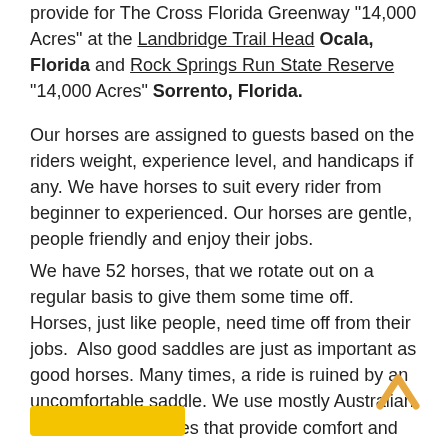provide for The Cross Florida Greenway 14,000 Acres" at the Landbridge Trail Head Ocala, Florida and Rock Springs Run State Reserve "14,000 Acres" Sorrento, Florida.
Our horses are assigned to guests based on the riders weight, experience level, and handicaps if any. We have horses to suit every rider from beginner to experienced. Our horses are gentle, people friendly and enjoy their jobs.
We have 52 horses, that we rotate out on a regular basis to give them some time off. Horses, just like people, need time off from their jobs.  Also good saddles are just as important as good horses. Many times, a ride is ruined by an uncomfortable saddle. We use mostly Australian and Western saddles that provide comfort and support.